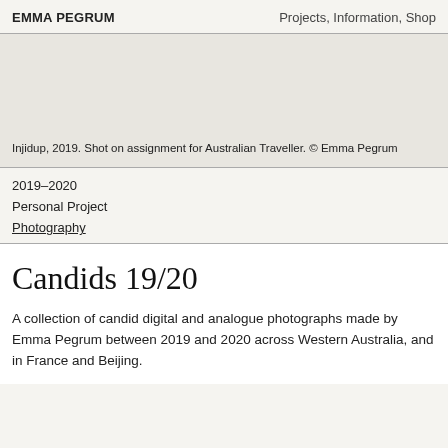EMMA PEGRUM    Projects, Information, Shop
[Figure (photo): Photograph placeholder — Injidup, 2019]
Injidup, 2019. Shot on assignment for Australian Traveller. © Emma Pegrum
2019–2020
Personal Project
Photography
Candids 19/20
A collection of candid digital and analogue photographs made by Emma Pegrum between 2019 and 2020 across Western Australia, and in France and Beijing.